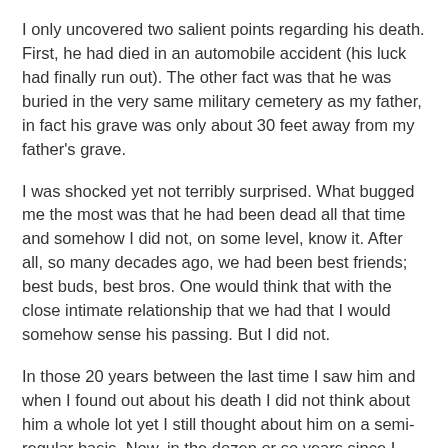I only uncovered two salient points regarding his death. First, he had died in an automobile accident (his luck had finally run out). The other fact was that he was buried in the very same military cemetery as my father, in fact his grave was only about 30 feet away from my father's grave.
I was shocked yet not terribly surprised. What bugged me the most was that he had been dead all that time and somehow I did not, on some level, know it. After all, so many decades ago, we had been best friends; best buds, best bros. One would think that with the close intimate relationship that we had that I would somehow sense his passing. But I did not.
In those 20 years between the last time I saw him and when I found out about his death I did not think about him a whole lot yet I still thought about him on a semi-regular basis. Now, in the dozen or so years since I found out about his death I haven't thought about him all that much either. But the truth is that I simply cannot go too long without thinking about him.